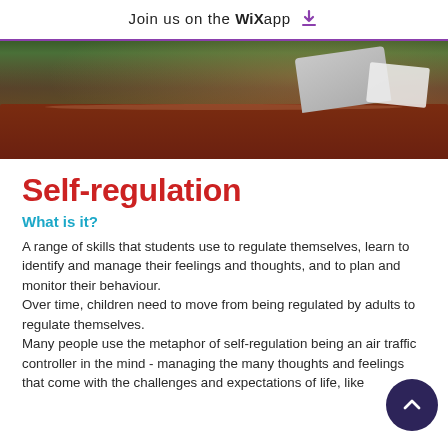Join us on the WiX app ↓
[Figure (photo): Students sitting at a dark wooden desk with a laptop and papers, viewed from behind. Dark reddish-brown desk in foreground with green background.]
Self-regulation
What is it?
A range of skills that students use to regulate themselves, learn to identify and manage their feelings and thoughts, and to plan and monitor their behaviour. Over time, children need to move from being regulated by adults to regulate themselves. Many people use the metaphor of self-regulation being an air traffic controller in the mind - managing the many thoughts and feelings that come with the challenges and expectations of life, like